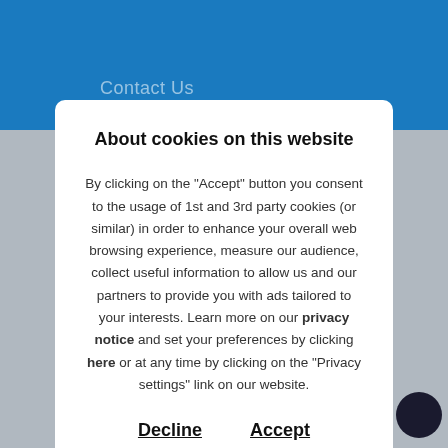Contact Us
About cookies on this website
By clicking on the "Accept" button you consent to the usage of 1st and 3rd party cookies (or similar) in order to enhance your overall web browsing experience, measure our audience, collect useful information to allow us and our partners to provide you with ads tailored to your interests. Learn more on our privacy notice and set your preferences by clicking here or at any time by clicking on the "Privacy settings" link on our website.
Decline   Accept